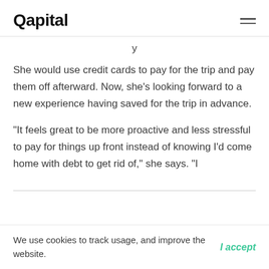Qapital
She would use credit cards to pay for the trip and pay them off afterward. Now, she's looking forward to a new experience having saved for the trip in advance.
“It feels great to be more proactive and less stressful to pay for things up front instead of knowing I’d come home with debt to get rid of,” she says. “I
We use cookies to track usage, and improve the website.
I accept